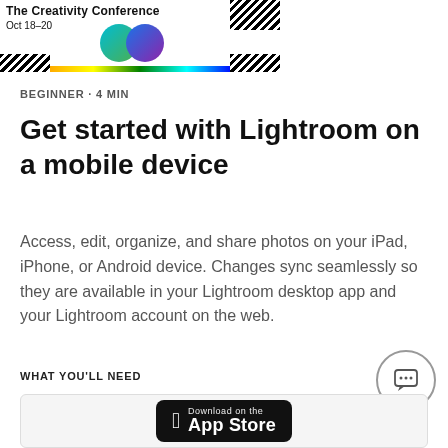[Figure (screenshot): The Creativity Conference banner with colorful circles, hatched patterns, and a rainbow bar at bottom. Date shown: Oct 18-20.]
BEGINNER · 4 MIN
Get started with Lightroom on a mobile device
Access, edit, organize, and share photos on your iPad, iPhone, or Android device. Changes sync seamlessly so they are available in your Lightroom desktop app and your Lightroom account on the web.
WHAT YOU'LL NEED
[Figure (logo): Download on the App Store button (black rounded rectangle with Apple logo)]